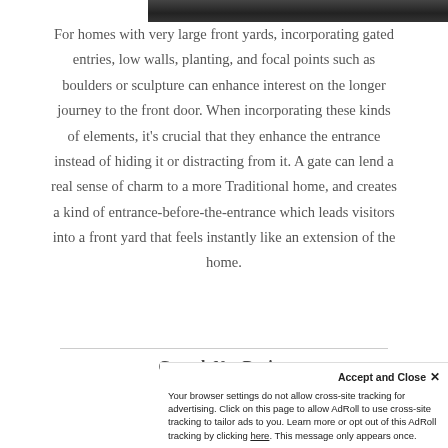[Figure (photo): Top portion of a photo showing trees/landscape, cropped at top of page]
For homes with very large front yards, incorporating gated entries, low walls, planting, and focal points such as boulders or sculpture can enhance interest on the longer journey to the front door.  When incorporating these kinds of elements, it's crucial that they enhance the entrance instead of hiding it or distracting from it.  A gate can lend a real sense of charm to a more Traditional home, and creates a kind of entrance-before-the-entrance which leads visitors into a front yard that feels instantly like an extension of the home.
Casual, Not Boring
[Figure (photo): Bottom photo showing garden/landscape, partially visible]
Accept and Close ×
Your browser settings do not allow cross-site tracking for advertising. Click on this page to allow AdRoll to use cross-site tracking to tailor ads to you. Learn more or opt out of this AdRoll tracking by clicking here. This message only appears once.